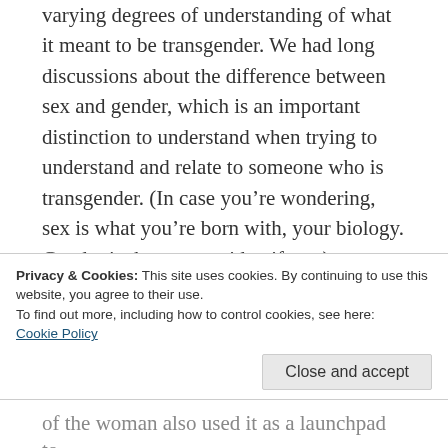varying degrees of understanding of what it meant to be transgender. We had long discussions about the difference between sex and gender, which is an important distinction to understand when trying to understand and relate to someone who is transgender. (In case you're wondering, sex is what you're born with, your biology. Gender is the sex you identify as.)
What makes this book so compelling is that it provides an approachable platform to have those discussions and to explore not just the
Privacy & Cookies: This site uses cookies. By continuing to use this website, you agree to their use. To find out more, including how to control cookies, see here: Cookie Policy
Close and accept
of the woman also used it as a launchpad to